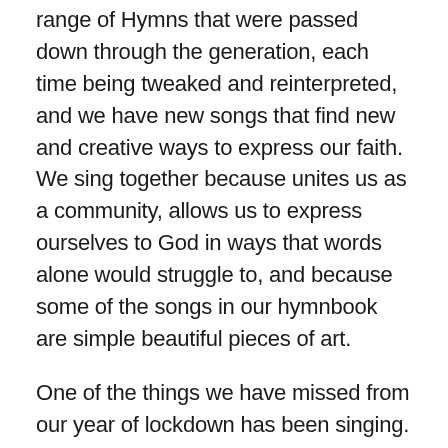range of Hymns that were passed down through the generation, each time being tweaked and reinterpreted, and we have new songs that find new and creative ways to express our faith. We sing together because unites us as a community, allows us to express ourselves to God in ways that words alone would struggle to, and because some of the songs in our hymnbook are simple beautiful pieces of art.
One of the things we have missed from our year of lockdown has been singing. Not being able to sing together has been a real loss for many of us. But we will sing again, just as Jesus and his friends did.
“Make a joyful noise to the Lord, all the earth! Serve the Lord with the Lord. Come into his